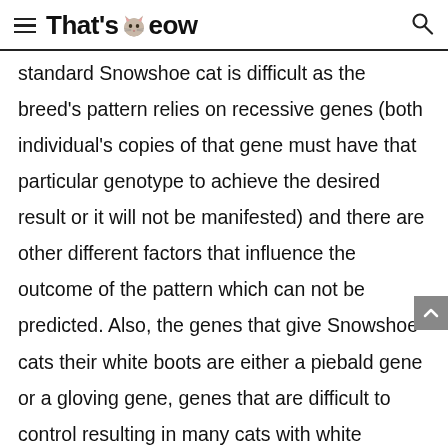That'sMeow
standard Snowshoe cat is difficult as the breed's pattern relies on recessive genes (both individual's copies of that gene must have that particular genotype to achieve the desired result or it will not be manifested) and there are other different factors that influence the outcome of the pattern which can not be predicted. Also, the genes that give Snowshoe cats their white boots are either a piebald gene or a gloving gene, genes that are difficult to control resulting in many cats with white markings either extending too far up the cat's legs, not